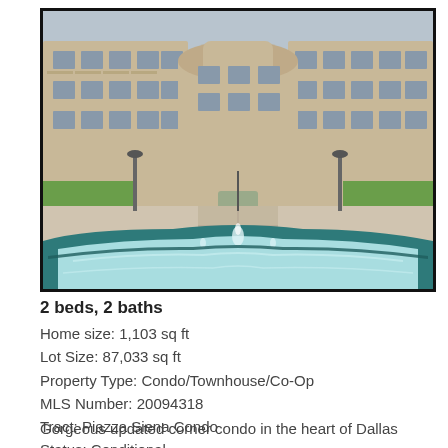[Figure (photo): Exterior photo of a multi-story beige/tan apartment or condo complex with a large decorative fountain and pool in the foreground. The courtyard features a paved walkway leading to the building entrance, with palm trees and landscaping visible.]
2 beds, 2 baths
Home size: 1,103 sq ft
Lot Size: 87,033 sq ft
Property Type: Condo/Townhouse/Co-Op
MLS Number: 20094318
Tract: Piazza Siena Condo
Status: Conditional
Gorgeous updated corner condo in the heart of Dallas